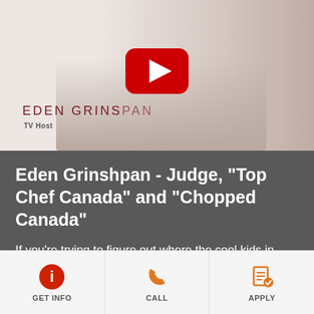[Figure (screenshot): Video thumbnail showing Eden Grinshpan seated, with YouTube play button overlay. Text reads 'EDEN GRINSHPAN' and 'TV Host' in the lower left of the thumbnail.]
Eden Grinshpan - Judge, "Top Chef Canada" and "Chopped Canada"
If you're trying to figure out where the cool kids in New York are eating or just looking for delicious, DIY home-cooking inspiration, look no further than the Instagram
GET INFO
CALL
APPLY